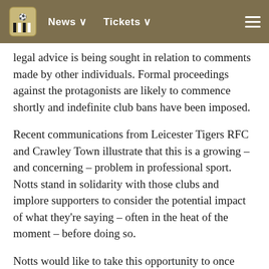News  Tickets
legal advice is being sought in relation to comments made by other individuals. Formal proceedings against the protagonists are likely to commence shortly and indefinite club bans have been imposed.
Recent communications from Leicester Tigers RFC and Crawley Town illustrate that this is a growing – and concerning – problem in professional sport. Notts stand in solidarity with those clubs and implore supporters to consider the potential impact of what they're saying – often in the heat of the moment – before doing so.
Notts would like to take this opportunity to once again express their immense gratitude to their supporters, who continue to back the team in huge numbers.
Everyone at Meadow Lane is doing their utmost to ensure the season ends on a positive note.